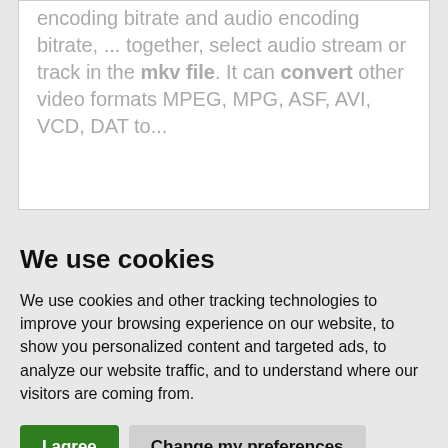encoding bitrate and audio encoding bitrate, ... together, select audio stream or track in the mkv file. It can convert other video formats MPEG, MPG, ASF, AVI, VCD, DAT to...
We use cookies
We use cookies and other tracking technologies to improve your browsing experience on our website, to show you personalized content and targeted ads, to analyze our website traffic, and to understand where our visitors are coming from.